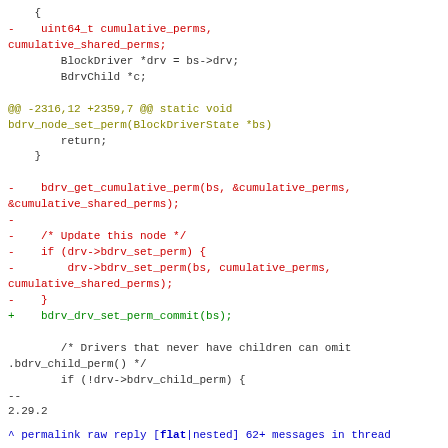Code diff showing changes to bdrv_node_set_perm function including removal of cumulative_perms variables and bdrv_get_cumulative_perm call, replacement with bdrv_drv_set_perm_commit(bs)
^ permalink raw reply   [flat|nested] 62+ messages in thread